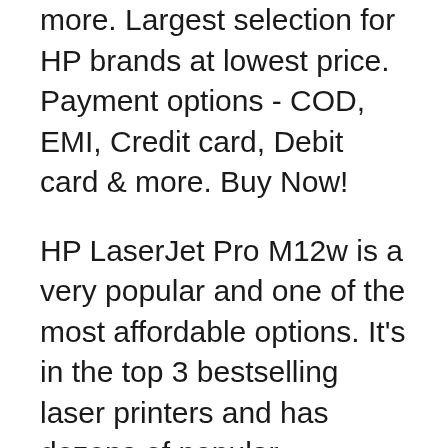more. Largest selection for HP brands at lowest price. Payment options - COD, EMI, Credit card, Debit card & more. Buy Now!
HP LaserJet Pro M12w is a very popular and one of the most affordable options. It's in the top 3 bestselling laser printers and has dozens of popular alternatives in the same price range, such as HP Laserjet Pro M148dw or Lexmark B2442DW. HP LaserJet Pro M12w was released in 2016. There are a lot of newer laser printers on the market. Discuss: HP LaserJet Pro M12w - printer - monochrome - laser Sign in to comment. Be respectful, keep it civil and stay on topic. We delete comments